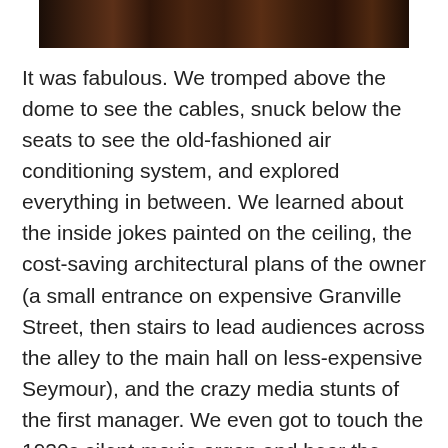[Figure (photo): A dark, dimly lit interior photograph strip showing what appears to be wooden architectural elements, very dark brown and black tones.]
It was fabulous. We tromped above the dome to see the cables, snuck below the seats to see the old-fashioned air conditioning system, and explored everything in between. We learned about the inside jokes painted on the ceiling, the cost-saving architectural plans of the owner (a small entrance on expensive Granville Street, then stairs to lead audiences across the alley to the main hall on less-expensive Seymour), and the crazy media stunts of the first manager. We even got to touch the 1920s silent-movie organ and hear the buttons for damsel-in-distress sound effects — train engine and whistle, of course. The tour was only open to kids over twelve, but the monkeys used their angelic faces and were allowed to tag along. Both of them loved the